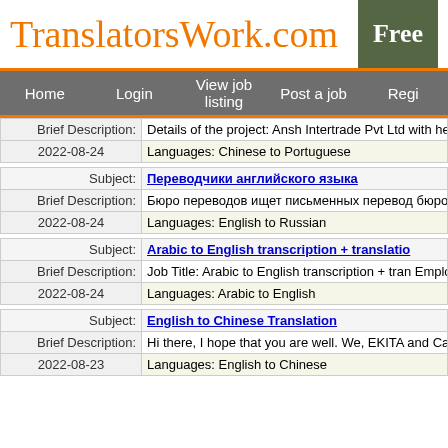TranslatorsWork.com
Free
Home  Login  View job listing  Post a job  Regi
| Label | Value |
| --- | --- |
| Brief Description: | Details of the project: Ansh Intertrade Pvt Ltd with head office in Delhi. Our services include being offere... |
| 2022-08-24 | Languages: Chinese to Portuguese |
| Subject: | Переводчики английского языка |
| Brief Description: | Бюро переводов ищет письменных перевод бюро переводов ищет опытных пис◆... |
| 2022-08-24 | Languages: English to Russian |
| Subject: | Arabic to English transcription + translatio |
| Brief Description: | Job Title: Arabic to English transcription + tran Employer: WeLead Translations We currently translators. ... |
| 2022-08-24 | Languages: Arabic to English |
| Subject: | English to Chinese Translation |
| Brief Description: | Hi there, I hope that you are well. We, EKITA and Canada, are looking for English to Chines added adva... |
| 2022-08-23 | Languages: English to Chinese |